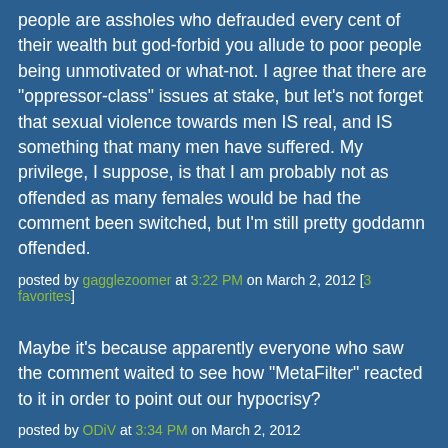people are assholes who defrauded every cent of their wealth but god-forbid you allude to poor people being unmotivated or what-not. I agree that there are "oppressor-class" issues at stake, but let's not forget that sexual violence towards men IS real, and IS something that many men have suffered. My privilege, I suppose, is that I am probably not as offended as many females would be had the comment been switched, but I'm still pretty goddamn offended.
posted by gagglezoomer at 3:22 PM on March 2, 2012 [3 favorites]
Maybe it's because apparently everyone who saw the comment waited to see how "MetaFilter" reacted to it in order to point out our hypocrisy?
posted by ODiV at 3:34 PM on March 2, 2012
If perhaps a mediator was meant to be sharin...